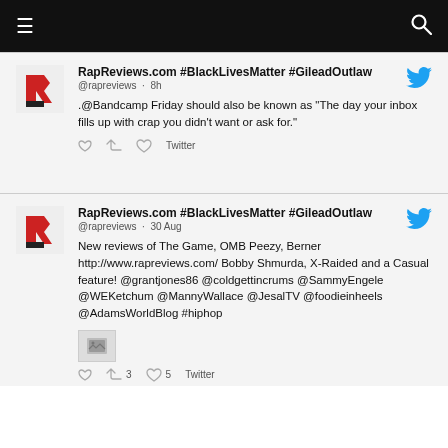≡  🔍
RapReviews.com #BlackLivesMatter #GileadOutlaw @rapreviews · 8h .@Bandcamp Friday should also be known as "The day your inbox fills up with crap you didn't want or ask for." Twitter
RapReviews.com #BlackLivesMatter #GileadOutlaw @rapreviews · 30 Aug New reviews of The Game, OMB Peezy, Berner http://www.rapreviews.com/ Bobby Shmurda, X-Raided and a Casual feature! @grantjones86 @coldgettincrums @SammyEngele @WEKetchum @MannyWallace @JesalTV @foodieinheels @AdamsWorldBlog #hiphop Twitter